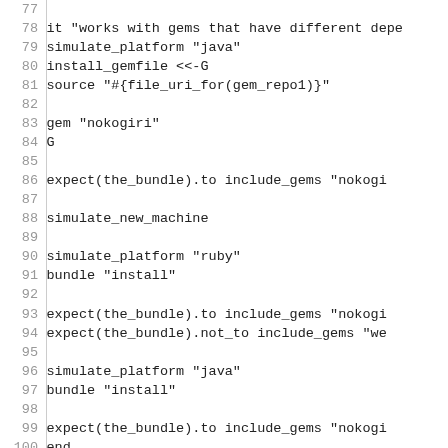[Figure (screenshot): Source code listing in monospace font showing Ruby test code, lines 77-106, with line numbers on the left separated by a vertical line from the code content.]